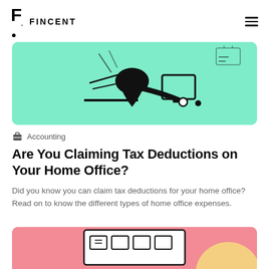F. FINCENT
[Figure (illustration): Green-background illustration showing a person in business suit bent over, working at a desk — partial view, upper portion cropped. Mint/teal (#7EECC8) background with black line-art figure.]
Accounting
Are You Claiming Tax Deductions on Your Home Office?
Did you know you can claim tax deductions for your home office? Read on to know the different types of home office expenses.
[Figure (illustration): Pink/salmon background illustration showing a home office desktop scene with monitor and small icons. Partially visible at bottom of page.]